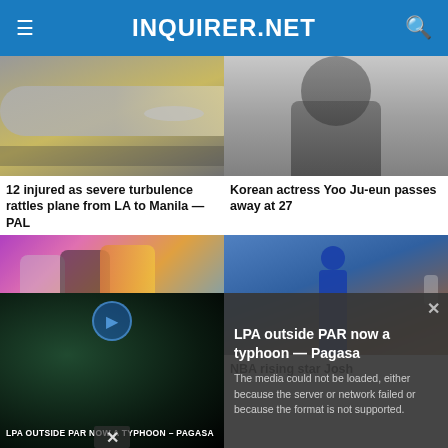INQUIRER.NET
[Figure (photo): Airplane on tarmac/runway, side view with motion blur]
12 injured as severe turbulence rattles plane from LA to Manila — PAL
[Figure (photo): Korean actress portrait, grayscale, long dark hair]
Korean actress Yoo Ju-eun passes away at 27
[Figure (photo): LOOK: Cesar Montano at colorful party event, people shaking hands]
LOOK: Cesar Montano
[Figure (photo): NBA basketball player number 11 facing away from camera toward crowd]
NBA rising star Josh
[Figure (screenshot): Video overlay showing LPA outside PAR now a typhoon Pagasa with media error message]
LPA outside PAR now a typhoon — Pagasa
The media could not be loaded, either because the server or network failed or because the format is not supported.